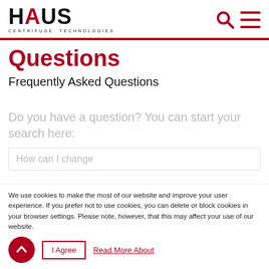HAUS CENTRIFUGE TECHNOLOGIES
Questions
Frequently Asked Questions
Do you have a question? You can start your search here:
How can I change
We use cookies to make the most of our website and improve your user experience. If you prefer not to use cookies, you can delete or block cookies in your browser settings. Please note, however, that this may affect your use of our website.
I Agree
Read More About